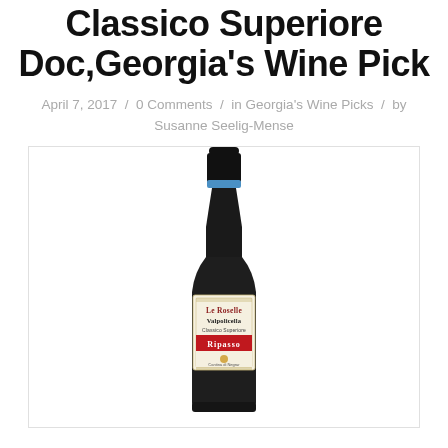Classico Superiore Doc,Georgia's Wine Pick
April 7, 2017 / 0 Comments / in Georgia's Wine Picks / by Susanne Seelig-Mense
[Figure (photo): A dark wine bottle with a label reading 'Le Roselle Valpolicella Classico Superiore Ripasso' with a red lower portion. The label shows 'Cantina di Negrar' at the bottom. The bottle has a black capsule with a blue band near the top.]